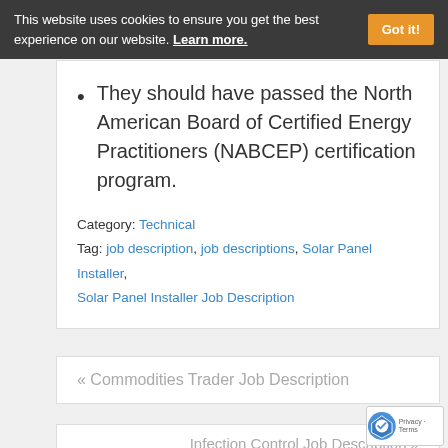This website uses cookies to ensure you get the best experience on our website. Learn more.
They should have passed the North American Board of Certified Energy Practitioners (NABCEP) certification program.
Category: Technical
Tag: job description, job descriptions, Solar Panel Installer, Solar Panel Installer Job Description
« Commodities Trader Job Description
Infection Control Job Description »